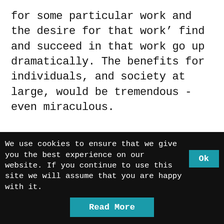for some particular work and the desire for that work’ find and succeed in that work go up dramatically. The benefits for individuals, and society at large, would be tremendous - even miraculous.

Imagine, then, if we ‘turbo-charged’ this equation with emerging ‘intelligent’ technology, as pictured in Figure 0.2, using artificial
We use cookies to ensure that we give you the best experience on our website. If you continue to use this site we will assume that you are happy with it.
Read More